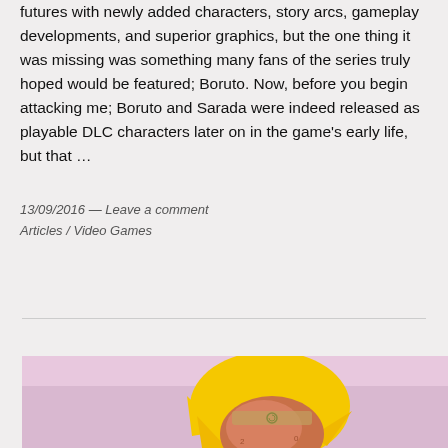futures with newly added characters, story arcs, gameplay developments, and superior graphics, but the one thing it was missing was something many fans of the series truly hoped would be featured; Boruto. Now, before you begin attacking me; Boruto and Sarada were indeed released as playable DLC characters later on in the game's early life, but that ...
13/09/2016 — Leave a comment
Articles / Video Games
[Figure (illustration): Anime-style illustration showing a character with spiky yellow hair and a red/brown face, appearing to be from the Naruto series. Background is pink/purple. Bottom portion of an image visible.]